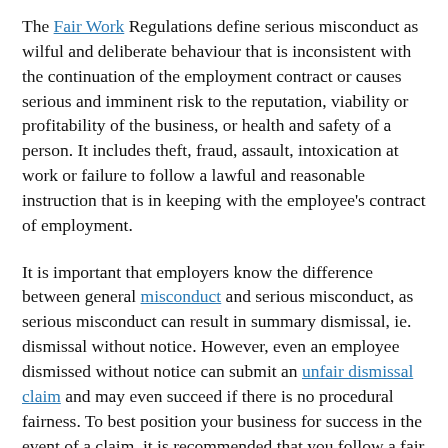The Fair Work Regulations define serious misconduct as wilful and deliberate behaviour that is inconsistent with the continuation of the employment contract or causes serious and imminent risk to the reputation, viability or profitability of the business, or health and safety of a person. It includes theft, fraud, assault, intoxication at work or failure to follow a lawful and reasonable instruction that is in keeping with the employee's contract of employment.
It is important that employers know the difference between general misconduct and serious misconduct, as serious misconduct can result in summary dismissal, ie. dismissal without notice. However, even an employee dismissed without notice can submit an unfair dismissal claim and may even succeed if there is no procedural fairness. To best position your business for success in the event of a claim, it is recommended that you follow a fair process and